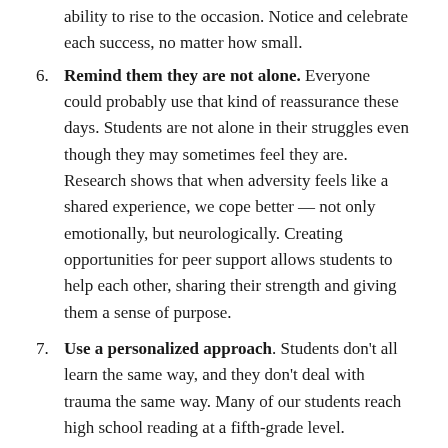ability to rise to the occasion. Notice and celebrate each success, no matter how small.
6. Remind them they are not alone. Everyone could probably use that kind of reassurance these days. Students are not alone in their struggles even though they may sometimes feel they are. Research shows that when adversity feels like a shared experience, we cope better — not only emotionally, but neurologically. Creating opportunities for peer support allows students to help each other, sharing their strength and giving them a sense of purpose.
7. Use a personalized approach. Students don't all learn the same way, and they don't deal with trauma the same way. Many of our students reach high school reading at a fifth-grade level.